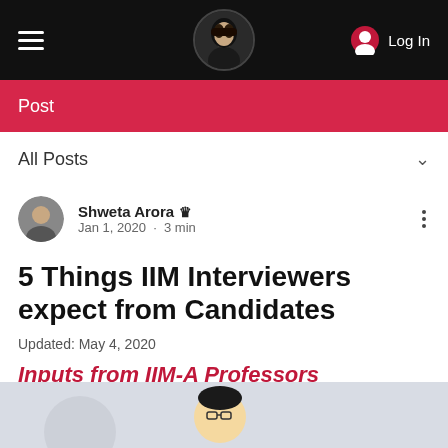[Figure (screenshot): Website navigation bar with hamburger menu, circular profile photo logo in center, and Log In button on right, on black background]
Post
All Posts
[Figure (photo): Circular author avatar photo of Shweta Arora]
Shweta Arora · Jan 1, 2020 · 3 min
5 Things IIM Interviewers expect from Candidates
Updated: May 4, 2020
Inputs from IIM-A Professors
[Figure (illustration): Partial illustration of a cartoon professor figure on light grey background, cropped at bottom of page]